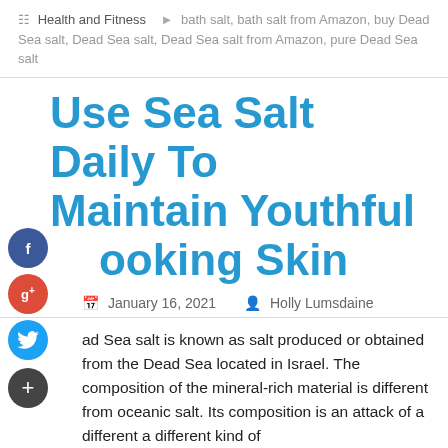Health and Fitness   bath salt, bath salt from Amazon, buy Dead Sea salt, Dead Sea salt, Dead Sea salt from Amazon, pure Dead Sea salt
Use Sea Salt Daily To Maintain Youthful Looking Skin
January 16, 2021   Holly Lumsdaine
ad Sea salt is known as salt produced or obtained from the Dead Sea located in Israel. The composition of the mineral-rich material is different from oceanic salt. Its composition is an attack of a different a different kind of